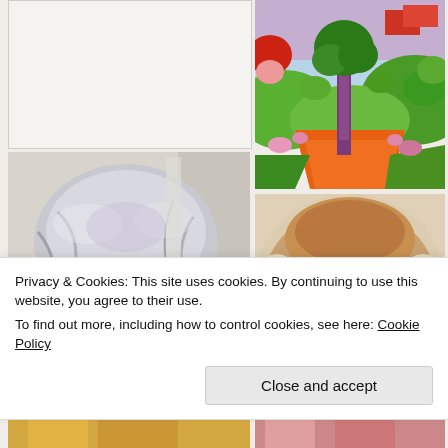[Figure (photo): Blank/white card area, top-left cell of image grid]
[Figure (illustration): Colorful folk-art style painting of a landscape with a purple tree, orange path, green hills, red rooftops, pink flowers, blue sky]
[Figure (photo): Portrait of an older Asian woman with short silver-white hair, smiling warmly at the camera]
[Figure (photo): Close-up portrait of a Barbary macaque monkey with golden-brown fur, looking directly at the camera]
[Figure (photo): Partial bottom strip showing colorful images, left side]
[Figure (photo): Partial bottom strip showing colorful images, right side]
Privacy & Cookies: This site uses cookies. By continuing to use this website, you agree to their use.
To find out more, including how to control cookies, see here: Cookie Policy
Close and accept